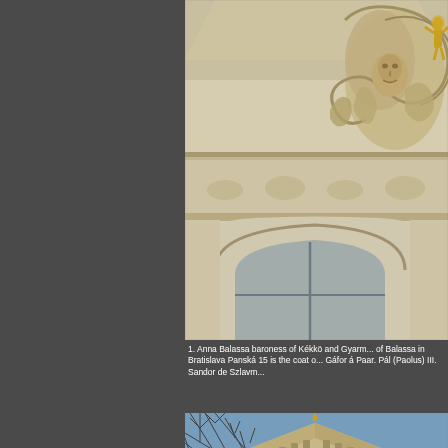[Figure (photo): Close-up photograph of Baroque architectural ornamentation on a building facade in Bratislava, showing ornate stone carvings, scrollwork, pediment decorations, and a gilded statue figure, with an arched window visible below]
1. Anna Balassa baroness of Kékkö and Gyarm... of Balassa in Bratislava Panská 15 is the coat o... Gáfor á Paar. Pál (Paolus) III. Sandor de Szlavm...
[Figure (photo): Photograph of the corner of a building with stone or stucco facade, showing the roofline with decorative battlements or crenellations against a blue sky with bare tree branches visible]